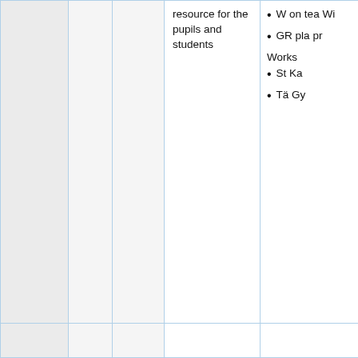|  |  |  | resource for the pupils and students | • W on tea Wi
• GR pla pr
Workshops
• St Ka
• Tä Gy |